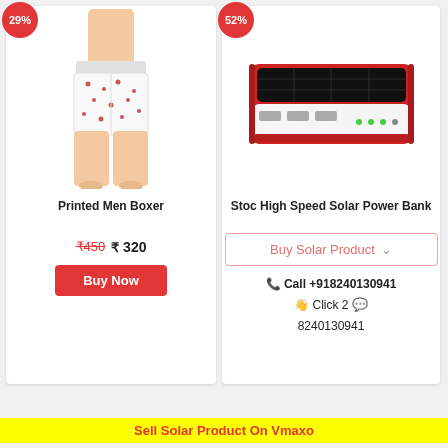[Figure (photo): Product card for Printed Men Boxer with 29% discount badge, showing a man wearing printed boxer shorts]
Printed Men Boxer
₹450  ₹ 320
Buy Now
[Figure (photo): Product card for Stoc High Speed Solar Power Bank with 52% discount badge, showing a red and white solar power bank]
Stoc High Speed Solar Power Bank
Buy Solar Product
Call +918240130941
Click 2  8240130941
Sell Solar Product On Vmaxo